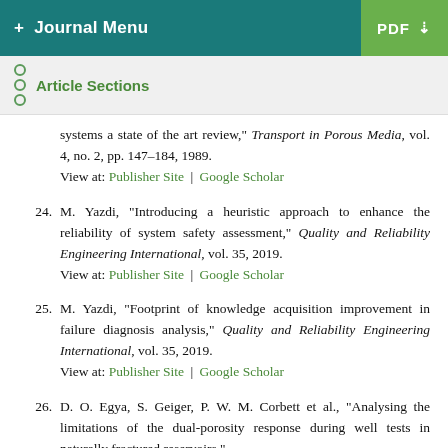+ Journal Menu | PDF
Article Sections
systems a state of the art review," Transport in Porous Media, vol. 4, no. 2, pp. 147–184, 1989. View at: Publisher Site | Google Scholar
24. M. Yazdi, "Introducing a heuristic approach to enhance the reliability of system safety assessment," Quality and Reliability Engineering International, vol. 35, 2019. View at: Publisher Site | Google Scholar
25. M. Yazdi, "Footprint of knowledge acquisition improvement in failure diagnosis analysis," Quality and Reliability Engineering International, vol. 35, 2019. View at: Publisher Site | Google Scholar
26. D. O. Egya, S. Geiger, P. W. M. Corbett et al., "Analysing the limitations of the dual-porosity response during well tests in naturally fractured reservoirs,"